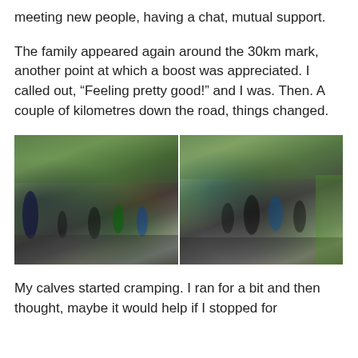meeting new people, having a chat, mutual support.
The family appeared again around the 30km mark, another point at which a boost was appreciated. I called out, “Feeling pretty good!” and I was. Then. A couple of kilometres down the road, things changed.
[Figure (photo): Two side-by-side photos of marathon runners on a road lined with trees and spectators.]
My calves started cramping. I ran for a bit and then thought, maybe it would help if I stopped for